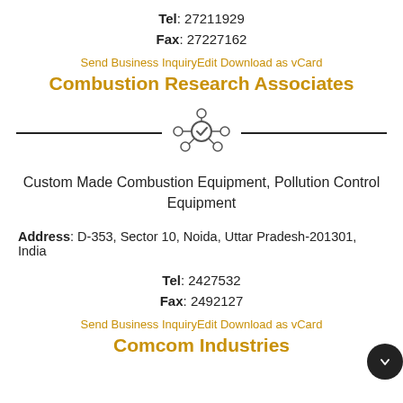Tel: 27211929
Fax: 27227162
Send Business InquiryEdit Download as vCard
Combustion Research Associates
[Figure (illustration): Decorative divider with a network/molecule icon in the center flanked by two horizontal lines]
Custom Made Combustion Equipment, Pollution Control Equipment
Address: D-353, Sector 10, Noida, Uttar Pradesh-201301, India
Tel: 2427532
Fax: 2492127
Send Business InquiryEdit Download as vCard
Comcom Industries